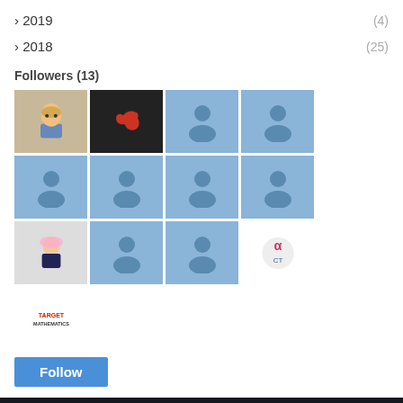> 2019  (4)
> 2018  (25)
Followers (13)
[Figure (other): Grid of 13 follower avatar images including profile pictures and logos]
Follow
DRILL FOR EXAM is a website designed to help students studying Myanmar and international courses in mathematics.
[Figure (other): Social media icons: Facebook, Twitter, YouTube, Instagram, RSS]